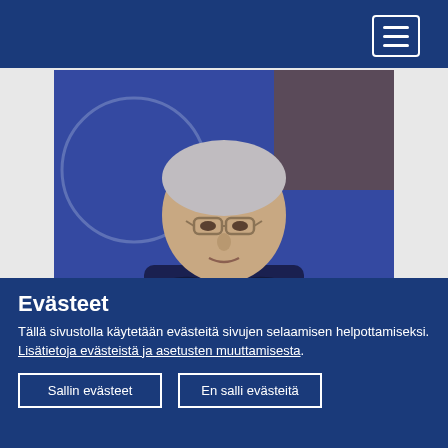[Figure (photo): A middle-aged man wearing glasses and a dark suit with tie speaking at a microphone, with a blue background containing a partial EU or institutional logo visible behind him.]
The COVID-19 crisis has underlined the importance of
Evästeet
Tällä sivustolla käytetään evästeitä sivujen selaamisen helpottamiseksi. Lisätietoja evästeistä ja asetusten muuttamisesta.
Sallin evästeet
En salli evästeitä